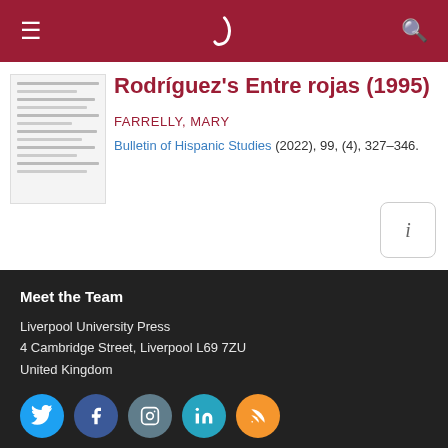Liverpool University Press — navigation header
Rodríguez's Entre rojas (1995)
FARRELLY, MARY
Bulletin of Hispanic Studies (2022), 99, (4), 327–346.
Meet the Team
Liverpool University Press
4 Cambridge Street, Liverpool L69 7ZU
United Kingdom